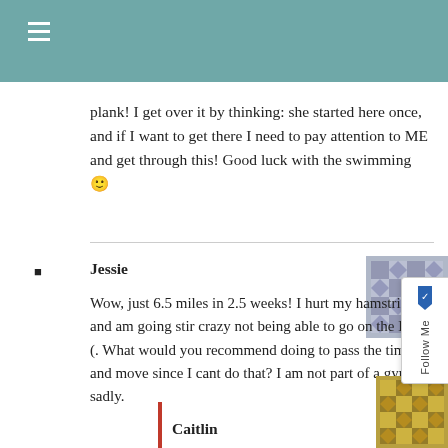≡
plank! I get over it by thinking: she started here once, and if I want to get there I need to pay attention to ME and get through this! Good luck with the swimming 🙂
Jessie
Wow, just 6.5 miles in 2.5 weeks! I hurt my hamstring and am going stir crazy not being able to go on the ET =(. What would you recommend doing to pass the time and move since I cant do that? I am not part of a gym sadly.
Caitlin